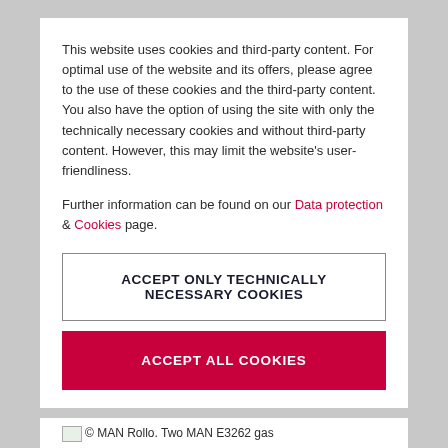This website uses cookies and third-party content. For optimal use of the website and its offers, please agree to the use of these cookies and the third-party content. You also have the option of using the site with only the technically necessary cookies and without third-party content. However, this may limit the website's user-friendliness.
Further information can be found on our Data protection & Cookies page.
ACCEPT ONLY TECHNICALLY NECESSARY COOKIES
ACCEPT ALL COOKIES
© MAN Rollo. Two MAN E3262 gas